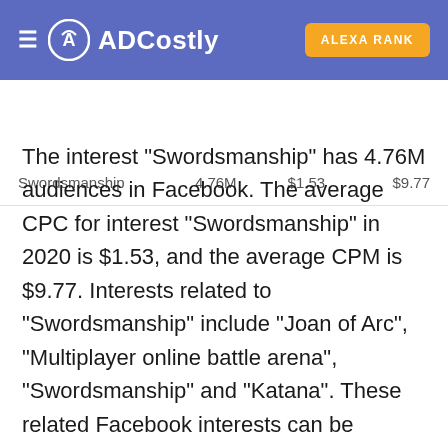ADCostly | ALEXA RANK
|  |  |  |  |
| --- | --- | --- | --- |
| Swordsmanship | 4.76M | $1.53 | $9.77 |
The interest "Swordsmanship" has 4.76M audiences in Facebook. The average CPC for interest "Swordsmanship" in 2020 is $1.53, and the average CPM is $9.77. Interests related to "Swordsmanship" include "Joan of Arc", "Multiplayer online battle arena", "Swordsmanship" and "Katana". These related Facebook interests can be included in the keywords when advertising. Their reports can be viewed at the end of this report. If you need